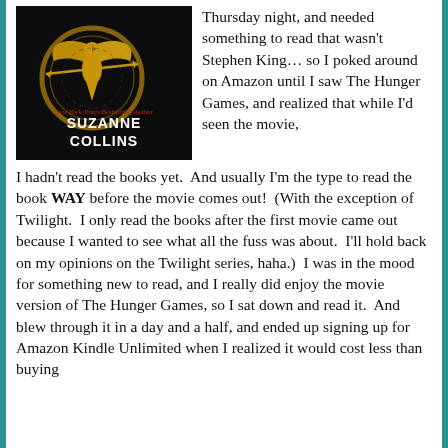[Figure (photo): Book cover of The Hunger Games by Suzanne Collins — black background with a golden mockingjay bird inside a golden circle, with 'New York Times Bestselling Author' in red italic text above 'SUZANNE COLLINS' in large white bold letters]
Thursday night, and needed something to read that wasn't Stephen King… so I poked around on Amazon until I saw The Hunger Games, and realized that while I'd seen the movie, I hadn't read the books yet.  And usually I'm the type to read the book WAY before the movie comes out!  (With the exception of Twilight.  I only read the books after the first movie came out because I wanted to see what all the fuss was about.  I'll hold back on my opinions on the Twilight series, haha.)  I was in the mood for something new to read, and I really did enjoy the movie version of The Hunger Games, so I sat down and read it.  And blew through it in a day and a half, and ended up signing up for Amazon Kindle Unlimited when I realized it would cost less than buying